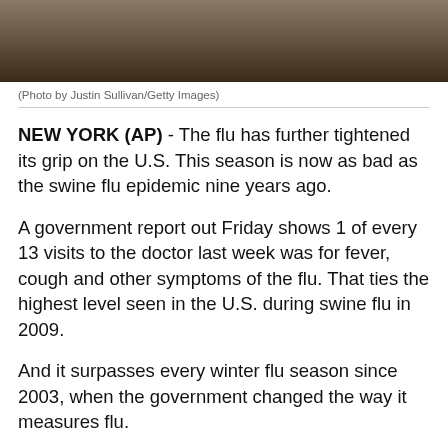[Figure (photo): Close-up photo of hands, likely showing a flu shot or medical procedure, dark background]
(Photo by Justin Sullivan/Getty Images)
NEW YORK (AP) - The flu has further tightened its grip on the U.S. This season is now as bad as the swine flu epidemic nine years ago.
A government report out Friday shows 1 of every 13 visits to the doctor last week was for fever, cough and other symptoms of the flu. That ties the highest level seen in the U.S. during swine flu in 2009.
And it surpasses every winter flu season since 2003, when the government changed the way it measures flu.
GET YOUR FLU SHOT: Most pharmacies have walk-in vaccinations. You can also find a clinic in the area by...